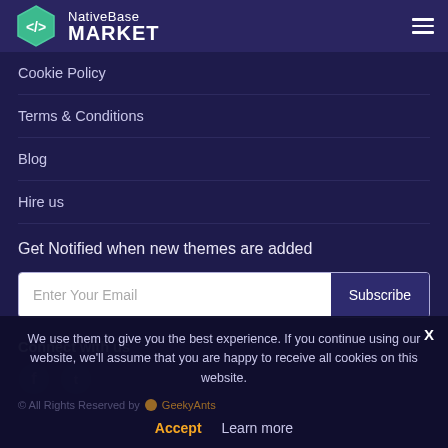NativeBase MARKET
Cookie Policy
Terms & Conditions
Blog
Hire us
Get Notified when new themes are added
Enter Your Email — Subscribe
Connect with us
[Figure (illustration): Facebook and Twitter social media icons]
We use them to give you the best experience. If you continue using our website, we'll assume that you are happy to receive all cookies on this website.
© All Rights Reserved by GeekyAnts
Accept  Learn more